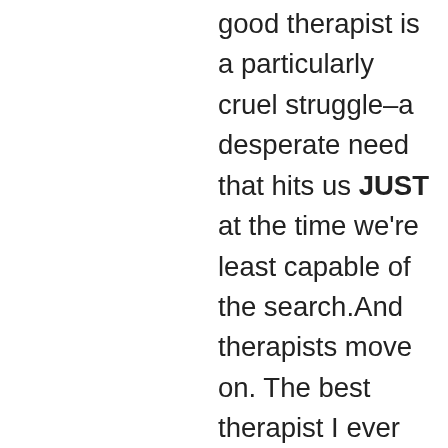good therapist is a particularly cruel struggle–a desperate need that hits us JUST at the time we're least capable of the search.And therapists move on. The best therapist I ever had–the one who got me out of the worst of my many depressions–retired abruptly. (Not his fault–he had Parkinson's and it just got beyond his ability to treat patients. Life is just so fun and fair and easy.)I was tenuous at best when he did. And then I got a lot worse, very quickly. Because when a therapist is GOOD, and KNOWS